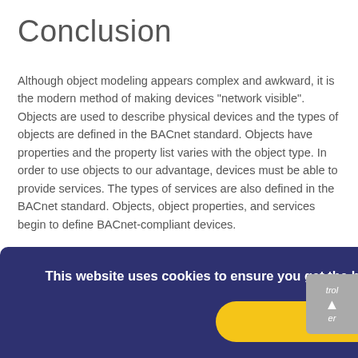Conclusion
Although object modeling appears complex and awkward, it is the modern method of making devices "network visible". Objects are used to describe physical devices and the types of objects are defined in the BACnet standard. Objects have properties and the property list varies with the object type. In order to use objects to our advantage, devices must be able to provide services. The types of services are also defined in the BACnet standard. Objects, object properties, and services begin to define BACnet-compliant devices.
This website uses cookies to ensure you get the best experience on our website. Learn more.
Got it!